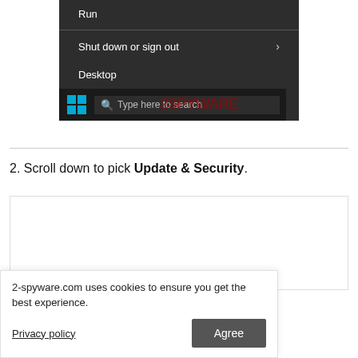[Figure (screenshot): Windows context menu showing 'Run', a divider, 'Shut down or sign out' with arrow, 'Desktop', and a taskbar with Windows icon, search icon, and 'Type here to search' text. A 2SPYWARE watermark overlays the screenshot.]
2. Scroll down to pick Update & Security.
[Figure (screenshot): White image placeholder box with border, representing a screenshot of the Update & Security settings screen.]
2-spyware.com uses cookies to ensure you get the best experience.
Privacy policy
Agree